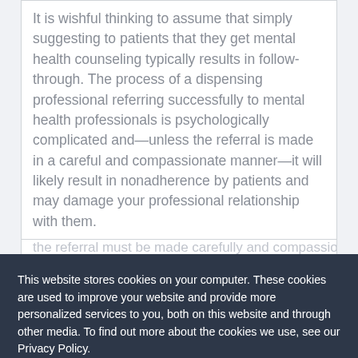It is wishful thinking to assume that simply suggesting to patients that they get mental health counseling typically results in follow-through. The process of a dispensing professional referring successfully to mental health professionals is psychologically complicated and—unless the referral is made in a careful and compassionate manner—it will likely result in nonadherence by patients and may damage your professional relationship with them.
This website stores cookies on your computer. These cookies are used to improve your website and provide more personalized services to you, both on this website and through other media. To find out more about the cookies we use, see our Privacy Policy.